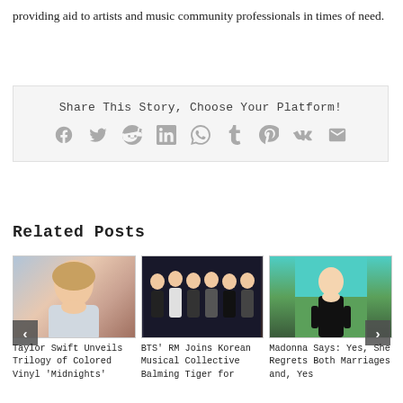providing aid to artists and music community professionals in times of need.
Share This Story, Choose Your Platform!
[Figure (other): Social media sharing icons: Facebook, Twitter, Reddit, LinkedIn, WhatsApp, Tumblr, Pinterest, VK, Email]
Related Posts
[Figure (photo): Taylor Swift photo - close-up portrait]
[Figure (photo): BTS group photo on stage]
[Figure (photo): Madonna in black outfit standing in a field]
Taylor Swift Unveils Trilogy of Colored Vinyl 'Midnights'
BTS' RM Joins Korean Musical Collective Balming Tiger for
Madonna Says: Yes, She Regrets Both Marriages and, Yes